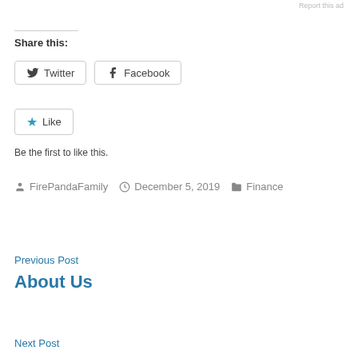Report this ad
Share this:
[Figure (other): Twitter and Facebook share buttons]
[Figure (other): Like button with star icon]
Be the first to like this.
FirePandaFamily   December 5, 2019   Finance
Previous Post
About Us
Next Post